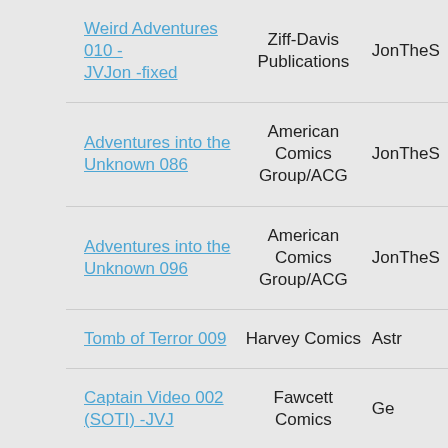| Title | Publisher | User |
| --- | --- | --- |
| Weird Adventures 010 - JVJon -fixed | Ziff-Davis Publications | JonTheS |
| Adventures into the Unknown 086 | American Comics Group/ACG | JonTheS |
| Adventures into the Unknown 096 | American Comics Group/ACG | JonTheS |
| Tomb of Terror 009 | Harvey Comics | Astr |
| Captain Video 002 (SOTI) -JVJ | Fawcett Comics | Ge |
| Popular Comics 050 | Dell Comics | Onto |
| Popular Comics 031 | Dell Comics | Henry |